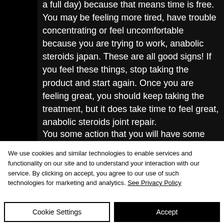a full day) because that means time is free. You may be feeling more tired, have trouble concentrating or feel uncomfortable because you are trying to work, anabolic steroids japan. These are all good signs! If you feel these things, stop taking the product and start again. Once you are feeling great, you should keep taking the treatment, but it does take time to feel great, anabolic steroids joint repair.
We use cookies and similar technologies to enable services and functionality on our site and to understand your interaction with our service. By clicking on accept, you agree to our use of such technologies for marketing and analytics. See Privacy Policy